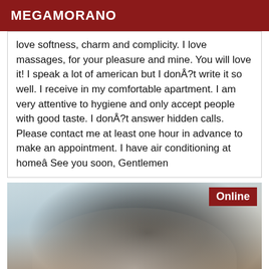MEGAMORANO
love softness, charm and complicity. I love massages, for your pleasure and mine. You will love it! I speak a lot of american but I donÂ?t write it so well. I receive in my comfortable apartment. I am very attentive to hygiene and only accept people with good taste. I donÂ?t answer hidden calls. Please contact me at least one hour in advance to make an appointment. I have air conditioning at homeâ See you soon, Gentlemen
[Figure (photo): Grayscale photo of a person from behind, wearing a black top and white shorts, with 'Online' badge in top right corner]